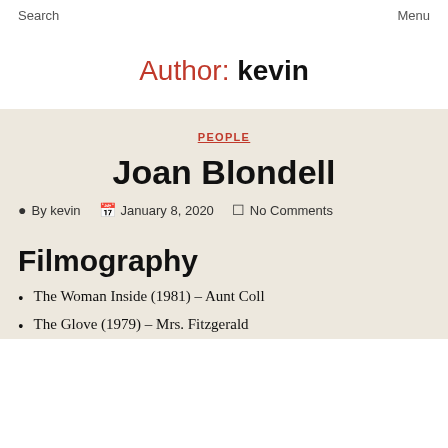Search    Menu
Author: kevin
PEOPLE
Joan Blondell
By kevin   January 8, 2020   No Comments
Filmography
The Woman Inside (1981) – Aunt Coll
The Glove (1979) – Mrs. Fitzgerald